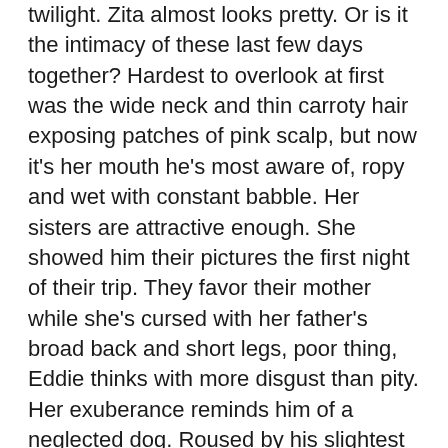twilight. Zita almost looks pretty. Or is it the intimacy of these last few days together? Hardest to overlook at first was the wide neck and thin carroty hair exposing patches of pink scalp, but now it's her mouth he's most aware of, ropy and wet with constant babble. Her sisters are attractive enough. She showed him their pictures the first night of their trip. They favor their mother while she's cursed with her father's broad back and short legs, poor thing, Eddie thinks with more disgust than pity. Her exuberance reminds him of a neglected dog. Roused by his slightest attention, she's all over him. Worse, when she drinks. Her eyes bulge and spittle sprays the air with her startlingly deep laughter.
She loved Vegas. It was her third trip there, but this one was the most fun, she said. The other times all she and her mother did was play the slots and blackjack, which Eddie refused to do. “Come on, please!” she teased, trying to tug him back into the casino. His eyes burned with rage. It took every ounce of self-control not to slap her. She'd just lost $120. A hundred and twenty when he still had